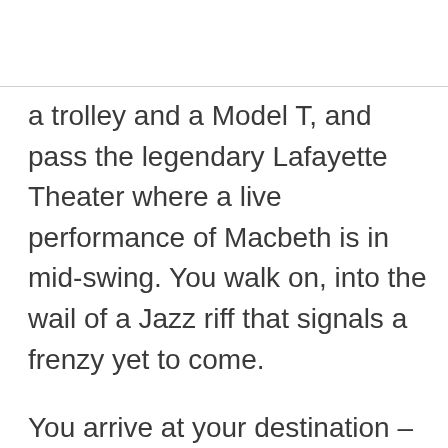a trolley and a Model T, and pass the legendary Lafayette Theater where a live performance of Macbeth is in mid-swing. You walk on, into the wail of a Jazz riff that signals a frenzy yet to come.
You arrive at your destination – the Cotton Club – and stand for a moment in the patch of sidewalk lit by its iconic, neon sign. The doors open, revealing the elegant ballroom